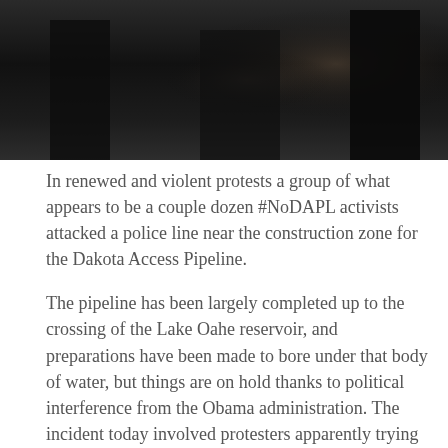[Figure (photo): Dark photograph showing figures in dark clothing, partially visible, with very low lighting creating a near-silhouette effect.]
In renewed and violent protests a group of what appears to be a couple dozen #NoDAPL activists attacked a police line near the construction zone for the Dakota Access Pipeline.
The pipeline has been largely completed up to the crossing of the Lake Oahe reservoir, and preparations have been made to bore under that body of water, but things are on hold thanks to political interference from the Obama administration. The incident today involved protesters apparently trying to get to the drill pad which would bore the pipeline under the reservoir.
This live stream video shows protesters marching and beating drums while shouting obscenities and insults at law enforcement. They then cut down what appears to be a razor wire fence and attacked a line of police who were standing there with riot shields.